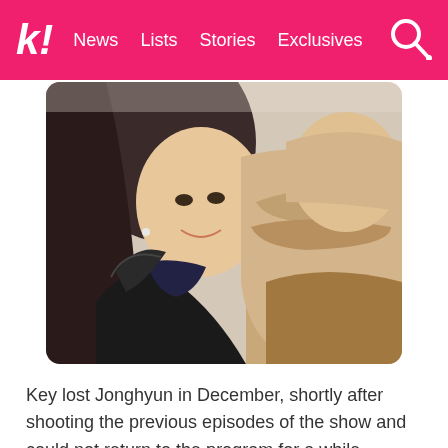k! News  Lists  Stories  Exclusives
[Figure (photo): Two women taking a selfie outdoors in winter clothing. One woman on the left is smiling, wearing a black fur jacket with dark hair. The other on the right is wearing a beige/camel scarf and coat.]
Key lost Jonghyun in December, shortly after shooting the previous episodes of the show and could not return to the program for a while.